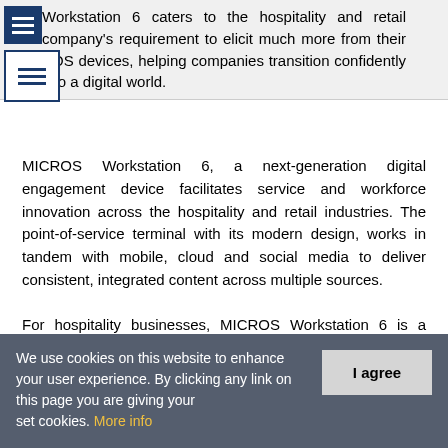Workstation 6 caters to the hospitality and retail company's requirement to elicit much more from their POS devices, helping companies transition confidently into a digital world.
MICROS Workstation 6, a next-generation digital engagement device facilitates service and workforce innovation across the hospitality and retail industries. The point-of-service terminal with its modern design, works in tandem with mobile, cloud and social media to deliver consistent, integrated content across multiple sources.
For hospitality businesses, MICROS Workstation 6 is a guest engagement device with its design leveraging modern technologies to help improve guest transactions, streamline
We use cookies on this website to enhance your user experience. By clicking any link on this page you are giving your consent for us to set cookies. More info